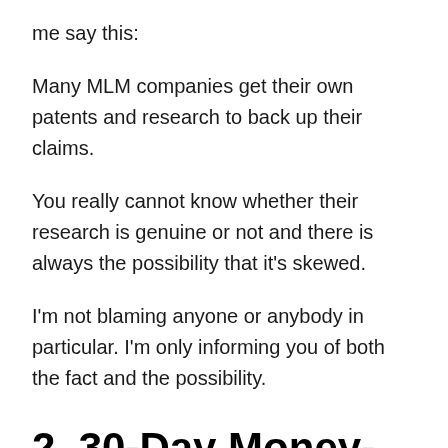me say this:
Many MLM companies get their own patents and research to back up their claims.
You really cannot know whether their research is genuine or not and there is always the possibility that it's skewed.
I'm not blaming anyone or anybody in particular. I'm only informing you of both the fact and the possibility.
2. 30-Day Money-Back Guarantee